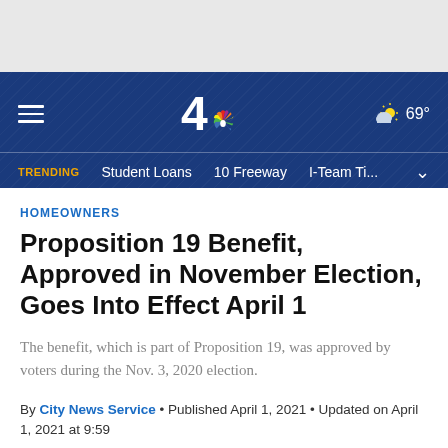[Figure (screenshot): NBC4 website header banner with logo showing '4' and NBC peacock, hamburger menu, weather icon showing 69 degrees, and trending bar with Student Loans, 10 Freeway, I-Team Ti... links]
HOMEOWNERS
Proposition 19 Benefit, Approved in November Election, Goes Into Effect April 1
The benefit, which is part of Proposition 19, was approved by voters during the Nov. 3, 2020 election.
By City News Service • Published April 1, 2021 • Updated on April 1, 2021 at 9:59